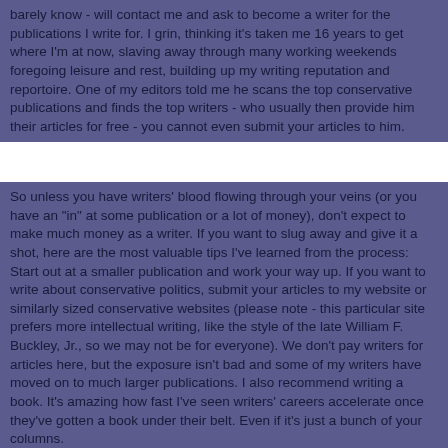barely know - will contact me and ask to become a writer for the publications I write for. I grin, thinking it's taken me 16 years to get where I'm at now, slaving away through many working weekends foregoing leisure and rest, building up my writing reputation and reportoire. One of my editors told me he scans the top conservative publications and finds the top writers - who usually then provide him their articles for free - you cannot even submit your articles to him.
So unless you have writers' blood flowing through your veins (or you have an "in" at some publication or a lot of money), don't expect to make much money as a writer. If you want to slug away and give it a shot, here are the most valuable tips I've learned from the process: Start out at a smaller publication and work your way up. If you want to write about conservative politics, submit your articles to my website or similarly sized conservative websites (please note - this particular site prefers more intellectual writing, like the style of the late William F. Buckley, Jr., so we may not be for everyone). We don't pay writers for articles here, but the exposure isn't bad and some of my writers have moved on to much larger publications. I also recommend writing a book. It's amazing how fast I've seen writers' careers accelerate once they've gotten a book under their belt. Even if it's just a bunch of your columns.